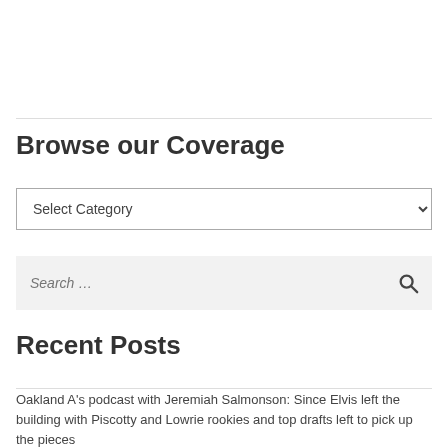Browse our Coverage
Select Category
Search …
Recent Posts
Oakland A's podcast with Jeremiah Salmonson: Since Elvis left the building with Piscotty and Lowrie rookies and top drafts left to pick up the pieces